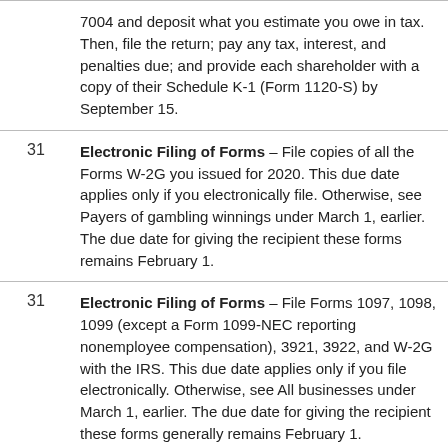7004 and deposit what you estimate you owe in tax. Then, file the return; pay any tax, interest, and penalties due; and provide each shareholder with a copy of their Schedule K-1 (Form 1120-S) by September 15.
31 — Electronic Filing of Forms – File copies of all the Forms W-2G you issued for 2020. This due date applies only if you electronically file. Otherwise, see Payers of gambling winnings under March 1, earlier. The due date for giving the recipient these forms remains February 1.
31 — Electronic Filing of Forms – File Forms 1097, 1098, 1099 (except a Form 1099-NEC reporting nonemployee compensation), 3921, 3922, and W-2G with the IRS. This due date applies only if you file electronically. Otherwise, see All businesses under March 1, earlier. The due date for giving the recipient these forms generally remains February 1.
31 — Electronic Filing of Forms – File Forms 8027 for 2020. This due date applies only if you...